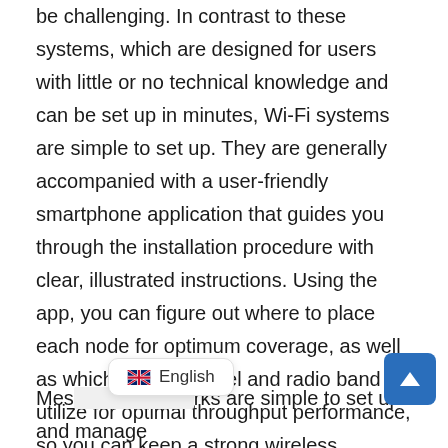be challenging. In contrast to these systems, which are designed for users with little or no technical knowledge and can be set up in minutes, Wi-Fi systems are simple to set up. They are generally accompanied with a user-friendly smartphone application that guides you through the installation procedure with clear, illustrated instructions. Using the app, you can figure out where to place each node for optimum coverage, as well as which Wi-Fi channel and radio band to utilize for optimal throughput performance, so you can keep a strong wireless connection as you move around your home.
Mesh networks are simple to set up and manage